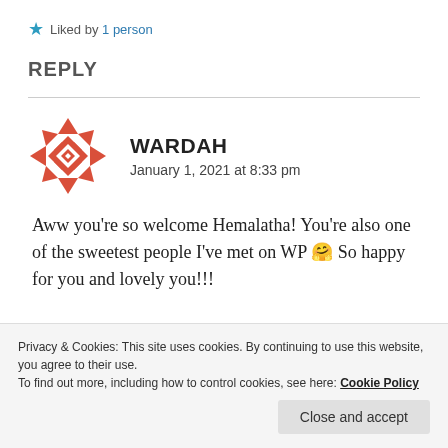★ Liked by 1 person
REPLY
[Figure (illustration): Red geometric pattern avatar icon for user Wardah]
WARDAH
January 1, 2021 at 8:33 pm
Aww you're so welcome Hemalatha! You're also one of the sweetest people I've met on WP 🤗 So happy for you and lovely you!!
Privacy & Cookies: This site uses cookies. By continuing to use this website, you agree to their use.
To find out more, including how to control cookies, see here: Cookie Policy
Close and accept